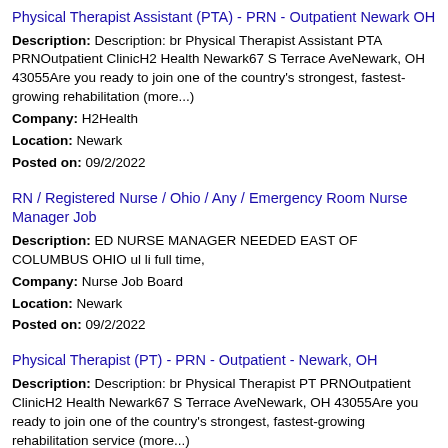Physical Therapist Assistant (PTA) - PRN - Outpatient Newark OH
Description: Description: br Physical Therapist Assistant PTA PRNOutpatient ClinicH2 Health Newark67 S Terrace AveNewark, OH 43055Are you ready to join one of the country's strongest, fastest-growing rehabilitation (more...)
Company: H2Health
Location: Newark
Posted on: 09/2/2022
RN / Registered Nurse / Ohio / Any / Emergency Room Nurse Manager Job
Description: ED NURSE MANAGER NEEDED EAST OF COLUMBUS OHIO ul li full time,
Company: Nurse Job Board
Location: Newark
Posted on: 09/2/2022
Physical Therapist (PT) - PRN - Outpatient - Newark, OH
Description: Description: br Physical Therapist PT PRNOutpatient ClinicH2 Health Newark67 S Terrace AveNewark, OH 43055Are you ready to join one of the country's strongest, fastest-growing rehabilitation service (more...)
Company: H2Health
Location: Newark